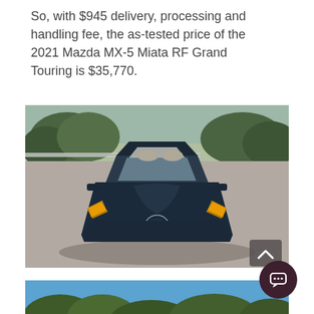So, with $945 delivery, processing and handling fee, the as-tested price of the 2021 Mazda MX-5 Miata RF Grand Touring is $35,770.
[Figure (photo): Front view of a dark blue 2021 Mazda MX-5 Miata RF parked on a gravel road with trees and a guardrail in the background. A scroll-to-top button is visible in the lower right corner of the image.]
[Figure (photo): Partial view of a second photo showing trees against a blue sky, partially cut off at the bottom of the page. A chat bubble button overlays this area.]